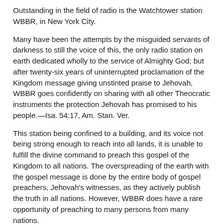Outstanding in the field of radio is the Watchtower station WBBR, in New York City.
Many have been the attempts by the misguided servants of darkness to still the voice of this, the only radio station on earth dedicated wholly to the service of Almighty God; but after twenty-six years of uninterrupted proclamation of the Kingdom message giving unstinted praise to Jehovah, WBBR goes confidently on sharing with all other Theocratic instruments the protection Jehovah has promised to his people.—Isa. 54:17, Am. Stan. Ver.
This station being confined to a building, and its voice not being strong enough to reach into all lands, it is unable to fulfill the divine command to preach this gospel of the Kingdom to all nations. The overspreading of the earth with the gospel message is done by the entire body of gospel preachers, Jehovah's witnesses, as they actively publish the truth in all nations. However, WBBR does have a rare opportunity of preaching to many persons from many nations.